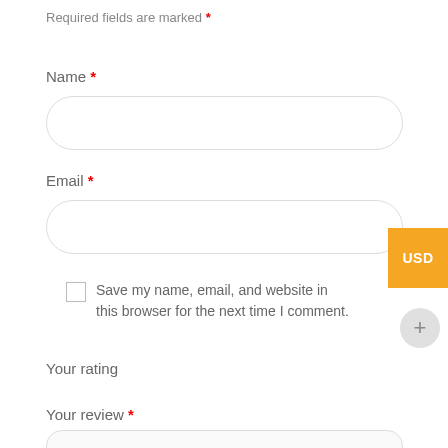Required fields are marked *
Name *
[Figure (other): Empty rounded text input box for Name field]
Email *
[Figure (other): Empty rounded text input box for Email field]
[Figure (other): Orange USD badge on right side]
Save my name, email, and website in this browser for the next time I comment.
[Figure (other): Gray circular plus button]
Your rating
Your review *
[Figure (other): Empty rounded textarea box for review]